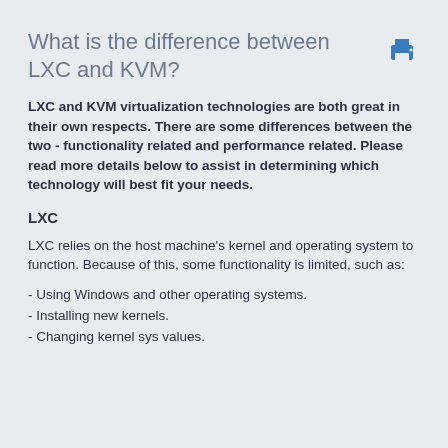What is the difference between LXC and KVM?
LXC and KVM virtualization technologies are both great in their own respects. There are some differences between the two - functionality related and performance related. Please read more details below to assist in determining which technology will best fit your needs.
LXC
LXC relies on the host machine's kernel and operating system to function. Because of this, some functionality is limited, such as:
- Using Windows and other operating systems.
- Installing new kernels.
- Changing kernel sys values.